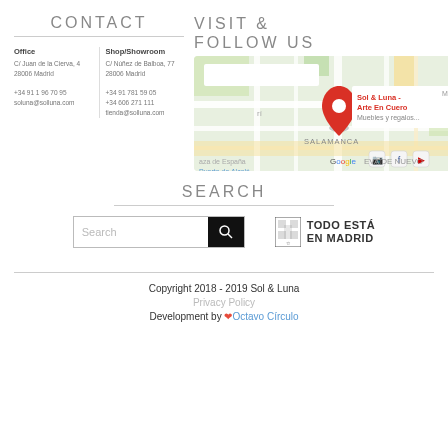CONTACT
Office
C/ Juan de la Cierva, 4
28006 Madrid
+34 91 1 96 70 95
soluna@solluna.com
Shop/Showroom
C/ Núñez de Balboa, 77
28006 Madrid
+34 91 781 59 05
+34 606 271 111
tienda@solluna.com
VISIT & FOLLOW US
[Figure (map): Google Maps screenshot showing Sol & Luna - Arte En Cuero location in Madrid, with SALAMANCA district, Plaza de España, Puerta de Alcalá visible, and social media icons (Instagram, Facebook, YouTube)]
SEARCH
Search input field with search button
[Figure (logo): TODO ESTÁ EN MADRID logo with Madrid city crest]
Copyright 2018 - 2019 Sol & Luna
Privacy Policy
Development by ❤ Octavo Círculo